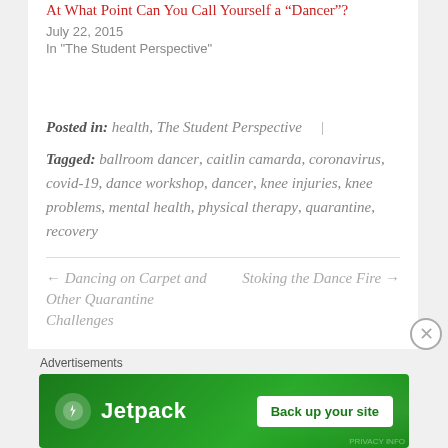At What Point Can You Call Yourself a “Dancer”?
July 22, 2015
In "The Student Perspective"
Posted in: health, The Student Perspective
Tagged: ballroom dancer, caitlin camarda, coronavirus, covid-19, dance workshop, dancer, knee injuries, knee problems, mental health, physical therapy, quarantine, recovery
← Dancing on Carpet and Other Quarantine Challenges
Stoking the Dance Fire →
Advertisements
[Figure (other): Jetpack advertisement banner with logo and 'Back up your site' button on green background]